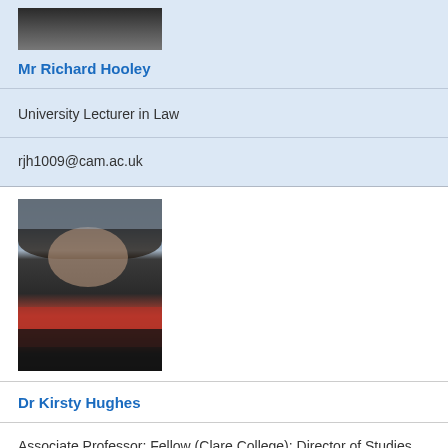[Figure (photo): Partial photo of Mr Richard Hooley, showing shoulders and face partially cropped at top of page]
Mr Richard Hooley
University Lecturer in Law
rjh1009@cam.ac.uk
[Figure (photo): Photo of Dr Kirsty Hughes, a woman with long dark hair wearing a red scarf, outdoors in a city setting]
Dr Kirsty Hughes
Associate Professor; Fellow (Clare College); Director of Studies.